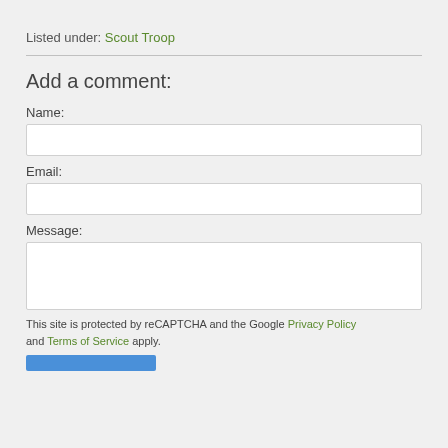Listed under: Scout Troop
Add a comment:
Name:
Email:
Message:
This site is protected by reCAPTCHA and the Google Privacy Policy and Terms of Service apply.